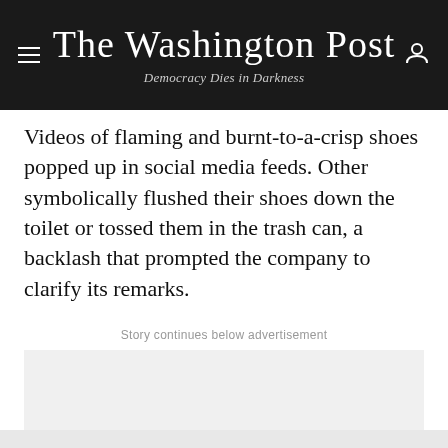The Washington Post — Democracy Dies in Darkness
Videos of flaming and burnt-to-a-crisp shoes popped up in social media feeds. Other symbolically flushed their shoes down the toilet or tossed them in the trash can, a backlash that prompted the company to clarify its remarks.
Story continues below advertisement
[Figure (other): Advertisement placeholder — light gray rectangle]